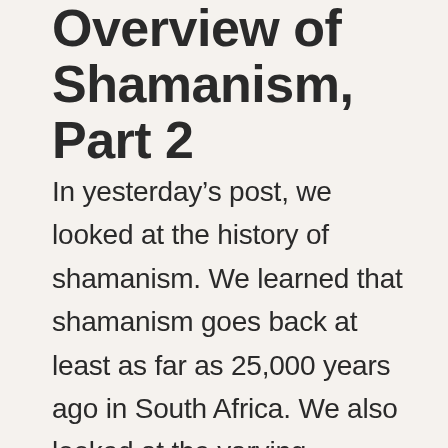Overview of Shamanism, Part 2
In yesterday's post, we looked at the history of shamanism. We learned that shamanism goes back at least as far as 25,000 years ago in South Africa. We also looked at the varying definitions of shaman. In today's post, we'll look at how one becomes a shaman. Enjoy! ~ How One Becomes a Shaman Given